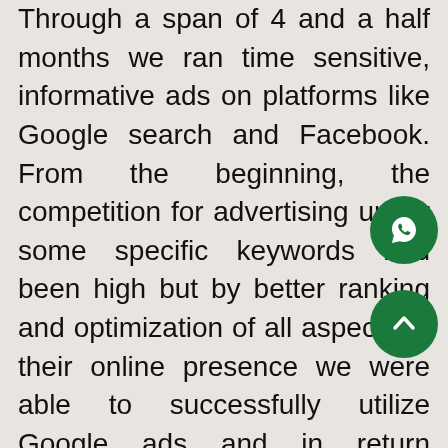Through a span of 4 and a half months we ran time sensitive, informative ads on platforms like Google search and Facebook. From the beginning, the competition for advertising under some specific keywords had been high but by better ranking and optimization of all aspects of their online presence we were able to successfully utilize Google ads and in return manage a high rate of conversion for a low cost. In the initial month of Naroo reaching out to us, their website and landing pages were low traffic and no leads were generated.